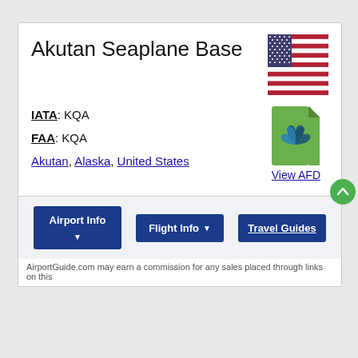Akutan Seaplane Base
IATA: KQA
FAA: KQA
Akutan, Alaska, United States
[Figure (other): Green PDF file icon with Acrobat symbol]
View AFD
Airport Info
Flight Info
Travel Guides
AirportGuide.com may earn a commission for any sales placed through links on this